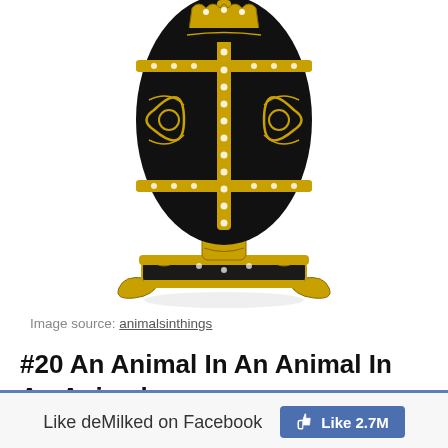[Figure (photo): A Fabergé-style decorative egg box, black enamel with gold filigree ornamentation and crystal accents, on an ornate gold base with scroll feet, photographed on white background.]
Image source: animalsinthings
#20 An Animal In An Animal In An Animal
[Figure (other): Facebook Like bar showing 'Like deMilked on Facebook' and a blue Like button showing 2.7M likes]